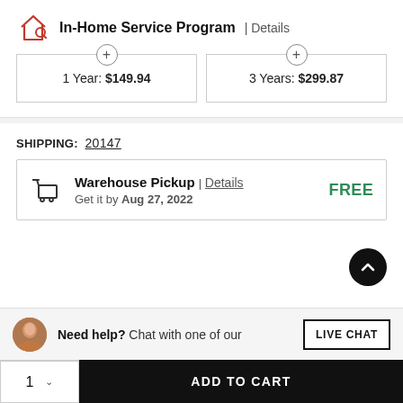In-Home Service Program | Details
1 Year: $149.94
3 Years: $299.87
SHIPPING: 20147
Warehouse Pickup | Details
Get it by Aug 27, 2022
FREE
Need help? Chat with one of our
LIVE CHAT
1 ∨  ADD TO CART